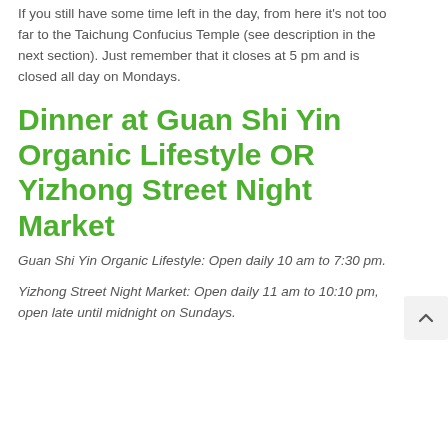If you still have some time left in the day, from here it's not too far to the Taichung Confucius Temple (see description in the next section). Just remember that it closes at 5 pm and is closed all day on Mondays.
Dinner at Guan Shi Yin Organic Lifestyle OR Yizhong Street Night Market
Guan Shi Yin Organic Lifestyle: Open daily 10 am to 7:30 pm.
Yizhong Street Night Market: Open daily 11 am to 10:10 pm, open late until midnight on Sundays.